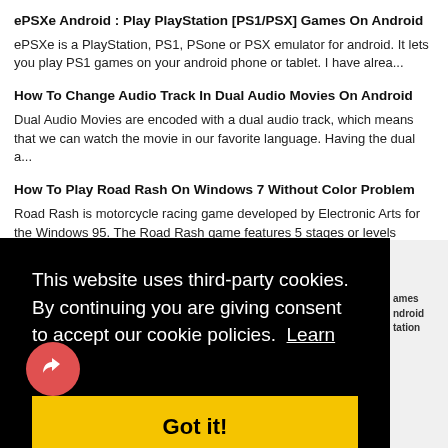ePSXe Android : Play PlayStation [PS1/PSX] Games On Android
ePSXe is a PlayStation, PS1, PSone or PSX emulator for android. It lets you play PS1 games on your android phone or tablet. I have alrea...
How To Change Audio Track In Dual Audio Movies On Android
Dual Audio Movies are encoded with a dual audio track, which means that we can watch the movie in our favorite language. Having the dual a...
How To Play Road Rash On Windows 7 Without Color Problem
Road Rash is motorcycle racing game developed by Electronic Arts for the Windows 95. The Road Rash game features 5 stages or levels namely...
This website uses third-party cookies. By continuing you are giving consent to accept our cookie policies. Learn more
Got it!
How To Play Java (.Jar) Games On Windows PC